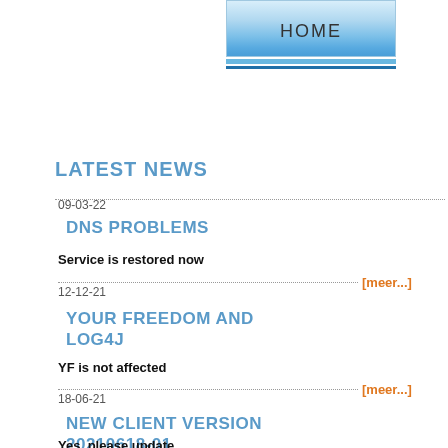[Figure (other): HOME navigation button with blue gradient styling]
LATEST NEWS
09-03-22
DNS PROBLEMS
Service is restored now
[meer...]
12-12-21
YOUR FREEDOM AND LOG4J
YF is not affected
[meer...]
18-06-21
NEW CLIENT VERSION 20210618-01
Yes, please update.
YOUR FREEDOM FORUM
Alle categorieën
Titel van categ
ANNOUNCEMENTS
Announcements
Announcements about the Your Freedom